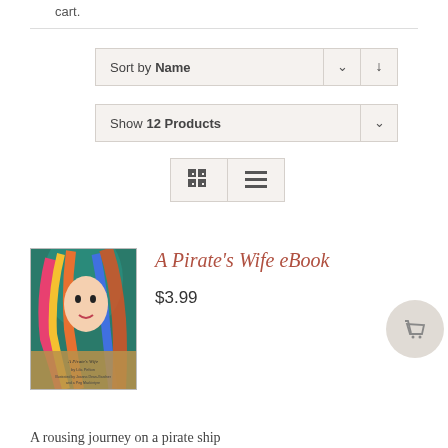cart.
Sort by Name
Show 12 Products
[Figure (screenshot): View toggle buttons: grid view and list view icons]
[Figure (illustration): Book cover for A Pirate's Wife eBook showing a colorful illustration of a woman with multicolored hair]
A Pirate's Wife eBook
$3.99
A rousing journey on a pirate ship